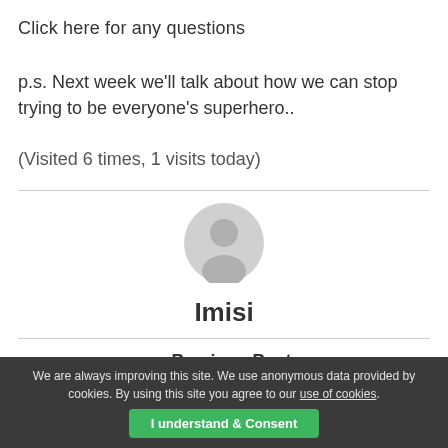Click here for any questions
p.s. Next week we’ll talk about how we can stop trying to be everyone’s superhero..
(Visited 6 times, 1 visits today)
[Figure (illustration): Generic user avatar circle icon in light grey]
Imisi
« Previous Post
The NO-COMPLAINTS REVOLUTION week 1 |
We are always improving this site. We use anonymous data provided by cookies. By using this site you agree to our use of cookies.
I understand & Consent